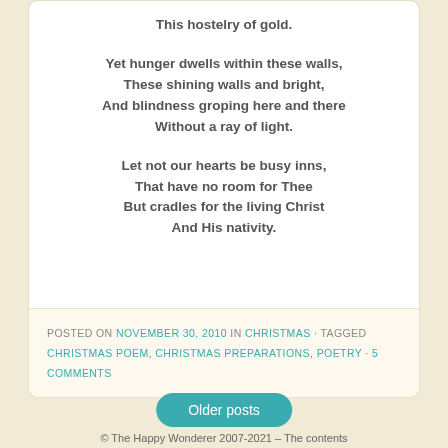This hostelry of gold.

Yet hunger dwells within these walls,
These shining walls and bright,
And blindness groping here and there
Without a ray of light.

Let not our hearts be busy inns,
That have no room for Thee
But cradles for the living Christ
And His nativity.
POSTED ON NOVEMBER 30, 2010 IN CHRISTMAS · TAGGED CHRISTMAS POEM, CHRISTMAS PREPARATIONS, POETRY · 5 COMMENTS
Older posts
© The Happy Wonderer 2007-2021 – The contents